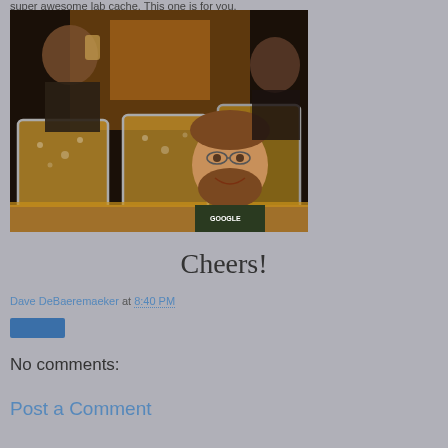super awesome lab cache. This one is for you.
[Figure (photo): Man in a Google t-shirt smiling behind three large beer mugs on a wooden board, with another person drinking in the background]
Cheers!
Dave DeBaeremaeker at 8:40 PM
No comments:
Post a Comment